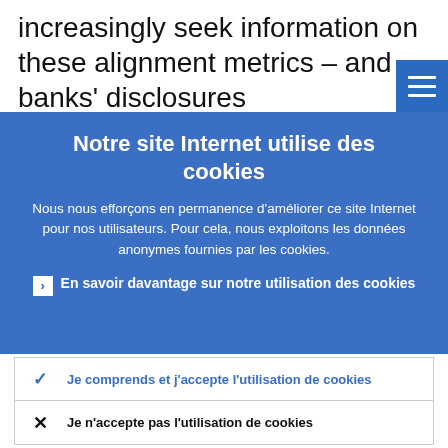increasingly seek information on these alignment metrics – and banks' disclosures
Notre site Internet utilise des cookies
Nous nous efforçons en permanence d'améliorer ce site Internet pour nos utilisateurs. Pour cela, nous exploitons les données anonymes fournies par les cookies.
En savoir davantage sur notre utilisation des cookies
Je comprends et j'accepte l'utilisation de cookies
Je n'accepte pas l'utilisation de cookies